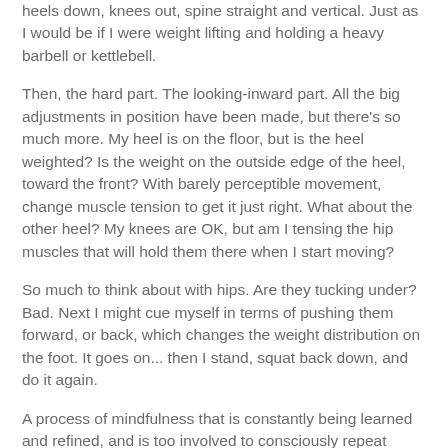heels down, knees out, spine straight and vertical. Just as I would be if I were weight lifting and holding a heavy barbell or kettlebell.
Then, the hard part. The looking-inward part. All the big adjustments in position have been made, but there's so much more. My heel is on the floor, but is the heel weighted? Is the weight on the outside edge of the heel, toward the front? With barely perceptible movement, change muscle tension to get it just right. What about the other heel? My knees are OK, but am I tensing the hip muscles that will hold them there when I start moving?
So much to think about with hips. Are they tucking under? Bad. Next I might cue myself in terms of pushing them forward, or back, which changes the weight distribution on the foot. It goes on... then I stand, squat back down, and do it again.
A process of mindfulness that is constantly being learned and refined, and is too involved to consciously repeat while doing a squat while weight lifting. A process I repeat early